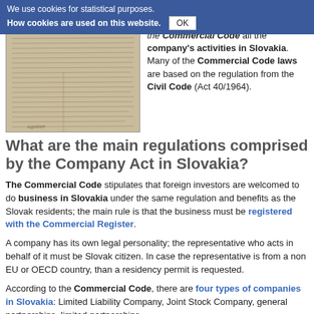We use cookies for statistical purposes. How cookies are used on this website. OK
[Figure (photo): Photograph of an old handwritten document or manuscript page with dense cursive text]
the Commercial Code all the company's activities in Slovakia. Many of the Commercial Code laws are based on the regulation from the Civil Code (Act 40/1964).
What are the main regulations comprised by the Company Act in Slovakia?
The Commercial Code stipulates that foreign investors are welcomed to do business in Slovakia under the same regulation and benefits as the Slovak residents; the main rule is that the business must be registered with the Commercial Register.
A company has its own legal personality; the representative who acts in behalf of it must be Slovak citizen. In case the representative is from a non EU or OECD country, than a residency permit is requested.
According to the Commercial Code, there are four types of companies in Slovakia: Limited Liability Company, Joint Stock Company, general partnerships, limited partnerships